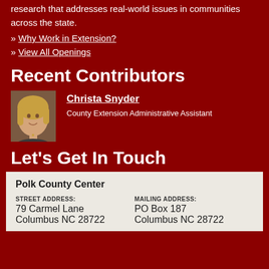research that addresses real-world issues in communities across the state.
» Why Work in Extension?
» View All Openings
Recent Contributors
[Figure (photo): Headshot photo of Christa Snyder, a woman with blonde hair, smiling]
Christa Snyder
County Extension Administrative Assistant
Let's Get In Touch
| STREET ADDRESS: | MAILING ADDRESS: |
| --- | --- |
| 79 Carmel Lane | PO Box 187 |
| Columbus NC 28722 | Columbus NC 28722 |